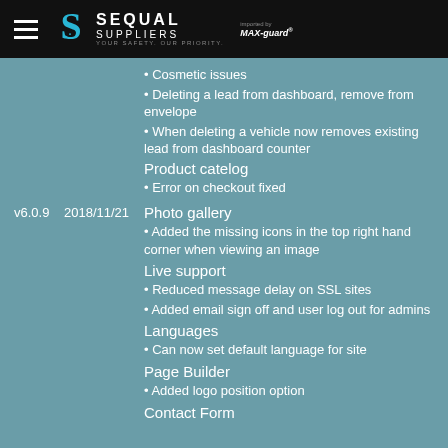SEQUAL SUPPLIERS — YOUR SAFETY, OUR PRIORITY | imported by MAX-guard
• Cosmetic issues
• Deleting a lead from dashboard, remove from envelope
• When deleting a vehicle now removes existing lead from dashboard counter
Product catelog
• Error on checkout fixed
v6.0.9   2018/11/21   Photo gallery
• Added the missing icons in the top right hand corner when viewing an image
Live support
• Reduced message delay on SSL sites
• Added email sign off and user log out for admins
Languages
• Can now set default language for site
Page Builder
• Added logo position option
Contact Form